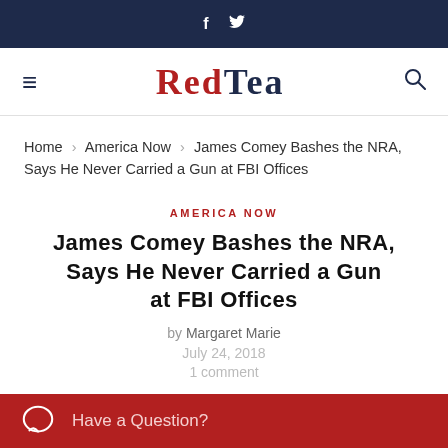f  🐦
[Figure (logo): RedTea logo with hamburger menu and search icon]
Home > America Now > James Comey Bashes the NRA, Says He Never Carried a Gun at FBI Offices
AMERICA NOW
James Comey Bashes the NRA, Says He Never Carried a Gun at FBI Offices
by Margaret Marie
July 24, 2018
1 comment
Have a Question?